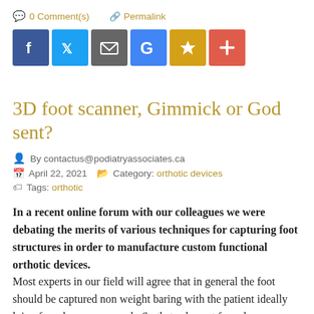0 Comment(s)   Permalink
[Figure (infographic): Social sharing icons: Facebook (blue), Twitter (light blue), Email/Mail (grey), Google+ (blue), Bookmark/Star (gold), Add/Plus (red-orange)]
3D foot scanner, Gimmick or God sent?
By contactus@podiatryassociates.ca
April 22, 2021   Category: orthotic devices
Tags: orthotic
In a recent online forum with our colleagues we were debating the merits of various techniques for capturing foot structures in order to manufacture custom functional orthotic devices.
Most experts in our field will agree that in general the foot should be captured non weight baring with the patient ideally lying face down on a couch. So that rules out foam boxes, pressure mats, weight baring scanners, and little beds of funky nails to contour the weight baring foot (I kid you not!).